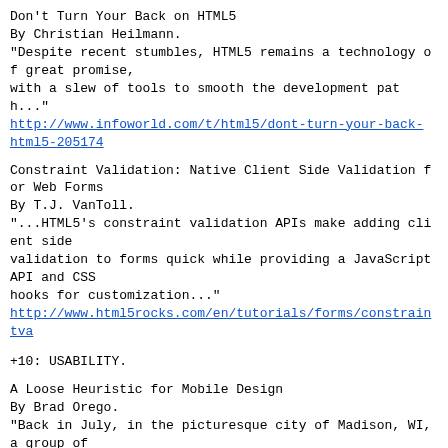Don't Turn Your Back on HTML5
By Christian Heilmann.
"Despite recent stumbles, HTML5 remains a technology of great promise,
with a slew of tools to smooth the development path..."
http://www.infoworld.com/t/html5/dont-turn-your-back-html5-205174
Constraint Validation: Native Client Side Validation for Web Forms
By T.J. VanToll.
"...HTML5's constraint validation APIs make adding client side
validation to forms quick while providing a JavaScript API and CSS
hooks for customization..."
http://www.html5rocks.com/en/tutorials/forms/constraintva
+10: USABILITY.
A Loose Heuristic for Mobile Design
By Brad Orego.
"Back in July, in the picturesque city of Madison, WI, a group of
enthusiastic and dedicated UX professionals got together for a
conference known as UXMad. One of the speakers, Hampton Catlin, gave a
talk outlining the '6 Rules of Mobile Design.' I'd like